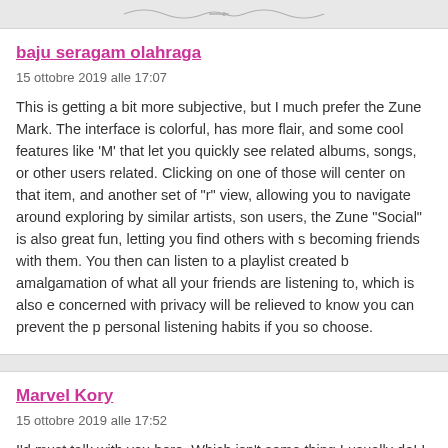[Figure (illustration): Decorative divider/swirl graphic at the top of the page]
baju seragam olahraga
15 ottobre 2019 alle 17:07
This is getting a bit more subjective, but I much prefer the Zune Mark. The interface is colorful, has more flair, and some cool features like 'M' that let you quickly see related albums, songs, or other users related. Clicking on one of those will center on that item, and another set of "r" view, allowing you to navigate around exploring by similar artists, son users, the Zune "Social" is also great fun, letting you find others with s becoming friends with them. You then can listen to a playlist created b amalgamation of what all your friends are listening to, which is also e concerned with privacy will be relieved to know you can prevent the p personal listening habits if you so choose.
Marvel Kory
15 ottobre 2019 alle 17:52
I'd must talk with you here. Which isn't some thing I usually do! I love an article which will make people feel. Also, thank you allowing me to